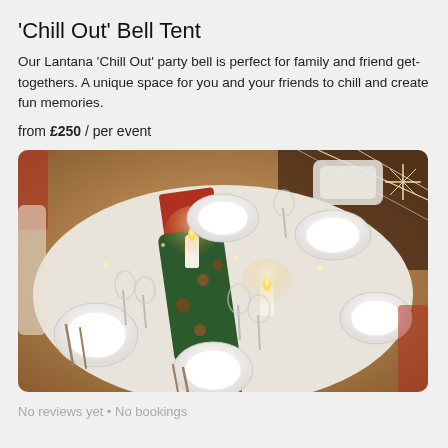'Chill Out' Bell Tent
Our Lantana 'Chill Out' party bell is perfect for family and friend get-togethers. A unique space for you and your friends to chill and create fun memories.
from £250 / per event
[Figure (photo): Overhead view of a festive decorated round dinner table inside a bell tent, with white plates, wine glasses, candles, pine cone garlands, red napkins, fairy lights, and red chairs. Warm golden lighting.]
No reviews yet • No bookings